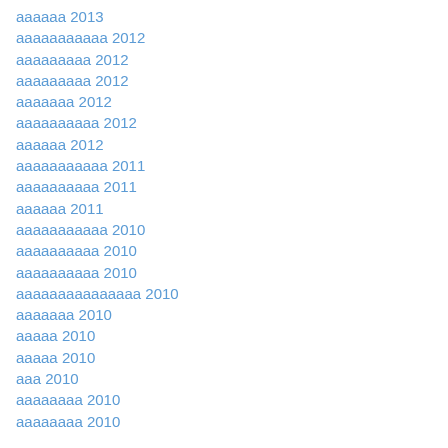ааааа 2013
аааааааааа 2012
аааааааа 2012
аааааааа 2012
аааааа 2012
аааааааа 2012
ааааа 2012
аааааааааа 2011
аааааааа 2011
ааааа 2011
аааааааааа 2010
аааааааа 2010
аааааааа 2010
аааааааааааа 2010
аааааа 2010
аааа 2010
аааа 2010
аа 2010
аааааа 2010
аааааа 2010